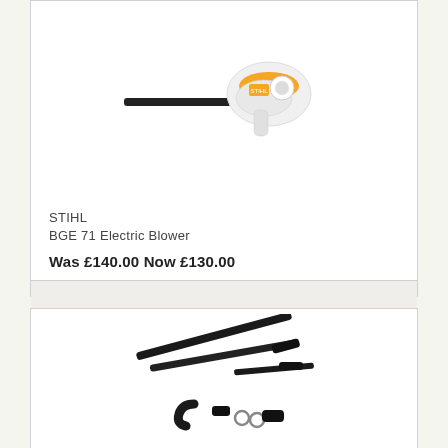[Figure (photo): STIHL BGE 71 Electric Blower product image - orange and white handheld leaf blower with black nozzle]
STIHL
BGE 71 Electric Blower
Was £140.00 Now £130.00
[Figure (photo): STIHL accessory kit product image - black tubes, curved connector, small fittings and rings]